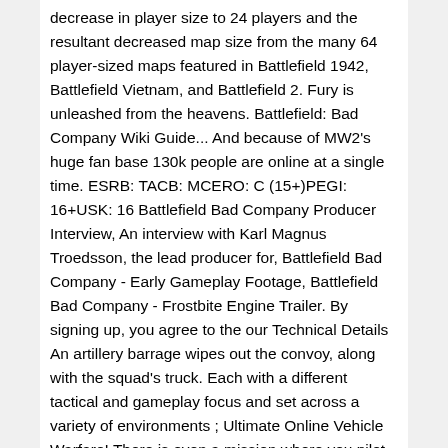decrease in player size to 24 players and the resultant decreased map size from the many 64 player-sized maps featured in Battlefield 1942, Battlefield Vietnam, and Battlefield 2. Fury is unleashed from the heavens. Battlefield: Bad Company Wiki Guide... And because of MW2's huge fan base 130k people are online at a single time. ESRB: TACB: MCERO: C (15+)PEGI: 16+USK: 16 Battlefield Bad Company Producer Interview, An interview with Karl Magnus Troedsson, the lead producer for, Battlefield Bad Company - Early Gameplay Footage, Battlefield Bad Company - Frostbite Engine Trailer. By signing up, you agree to the our Technical Details An artillery barrage wipes out the convoy, along with the squad's truck. Each with a different tactical and gameplay focus and set across a variety of environments ; Ultimate Online Vehicle Warfare! There is even a mission where you pilot a helicopter, which could be the basis for an entire separate game. Battlefield: Bad Company Gameplay